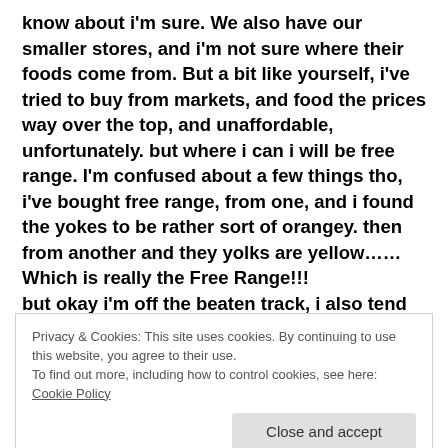know about i'm sure. We also have our smaller stores, and i'm not sure where their foods come from. But a bit like yourself, i've tried to buy from markets, and food the prices way over the top, and unaffordable, unfortunately. but where i can i will be free range. I'm confused about a few things tho, i've bought free range, from one, and i found the yokes to be rather sort of orangey. then from another and they yolks are yellow……Which is really the Free Range!!!
but okay i'm off the beaten track, i also tend to think that not only refrigeration causes the ozone problems, but, the wars going on in other countries, this would be so bad for our ozone also! Also
Privacy & Cookies: This site uses cookies. By continuing to use this website, you agree to their use.
To find out more, including how to control cookies, see here: Cookie Policy
should be helping our local growers, and be eating